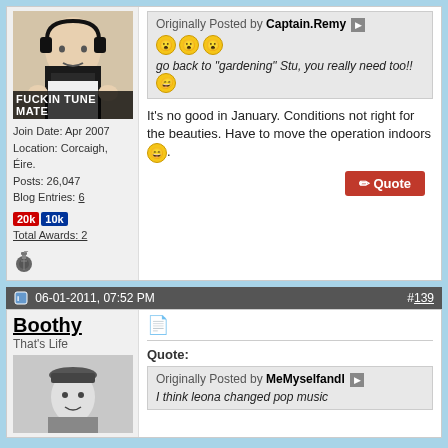[Figure (photo): Man wearing headphones making gestures, with text overlay 'FUCKIN TUNE MATE']
Join Date: Apr 2007
Location: Corcaigh, Éire.
Posts: 26,047
Blog Entries: 6
20k 10k
Total Awards: 2
Originally Posted by Captain.Remy
[surprised emojis x3]
go back to "gardening" Stu, you really need too!! [smile emoji]
It's no good in January. Conditions not right for the beauties. Have to move the operation indoors [smile emoji].
06-01-2011, 07:52 PM  #139
Boothy
That's Life
[Figure (photo): Black and white photo of a man wearing a fedora hat]
Quote:
Originally Posted by MeMyselfandI
I think leona changed pop music